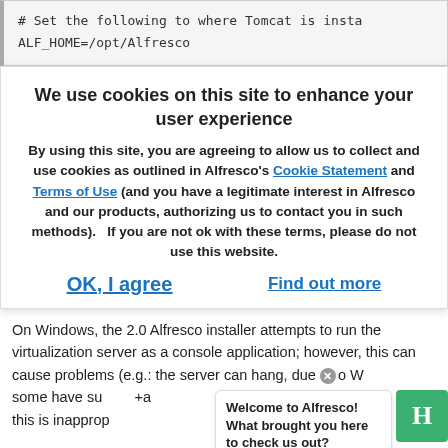# Set the following to where Tomcat is insta
ALF_HOME=/opt/Alfresco
We use cookies on this site to enhance your user experience
By using this site, you are agreeing to allow us to collect and use cookies as outlined in Alfresco's Cookie Statement and Terms of Use (and you have a legitimate interest in Alfresco and our products, authorizing us to contact you in such methods).   If you are not ok with these terms, please do not use this website.
OK, I agree
Find out more
On Windows, the 2.0 Alfresco installer attempts to run the virtualization server as a console application; however, this can cause problems (e.g.: the server can hang, due to ... some have su... this is inapprop...
Welcome to Alfresco! What brought you here to check us out?